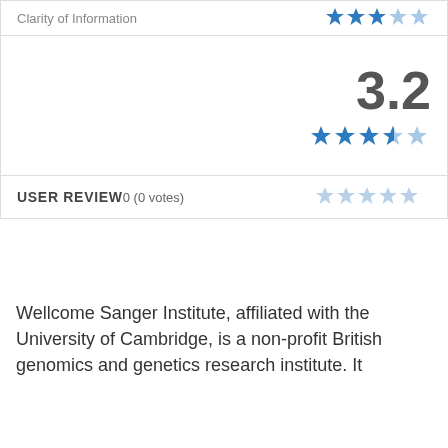| Category | Rating |
| --- | --- |
| Clarity of Information | 3 stars (filled 3, half 0, empty 2) |
| Overall Score | 3.2 / 5 stars (filled 3, half 1, empty 1) |
| USER REVIEW0 (0 votes) | 0 stars (all empty) |
Wellcome Sanger Institute, affiliated with the University of Cambridge, is a non-profit British genomics and genetics research institute. It